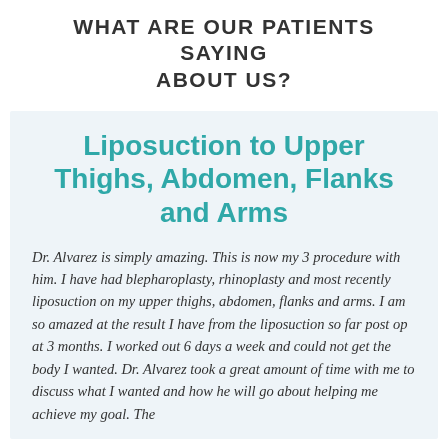WHAT ARE OUR PATIENTS SAYING ABOUT US?
Liposuction to Upper Thighs, Abdomen, Flanks and Arms
Dr. Alvarez is simply amazing. This is now my 3 procedure with him. I have had blepharoplasty, rhinoplasty and most recently liposuction on my upper thighs, abdomen, flanks and arms. I am so amazed at the result I have from the liposuction so far post op at 3 months. I worked out 6 days a week and could not get the body I wanted. Dr. Alvarez took a great amount of time with me to discuss what I wanted and how he will go about helping me achieve my goal. The